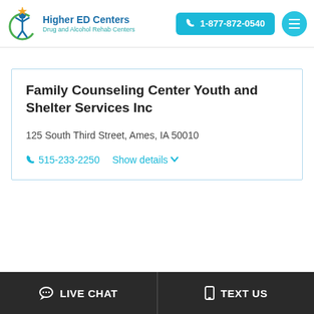Higher ED Centers Drug and Alcohol Rehab Centers | 1-877-872-0540
Family Counseling Center Youth and Shelter Services Inc
125 South Third Street, Ames, IA 50010
515-233-2250  Show details
LIVE CHAT  TEXT US